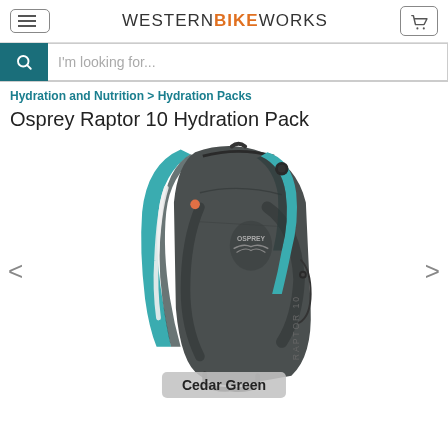WESTERNBIKEWORKS
I'm looking for...
Hydration and Nutrition > Hydration Packs
Osprey Raptor 10 Hydration Pack
[Figure (photo): Osprey Raptor 10 Hydration Pack in Cedar Green colorway, shown from the back angle displaying the teal padded shoulder straps, black body, and Osprey branding. A hydration tube is visible on the left strap.]
Cedar Green